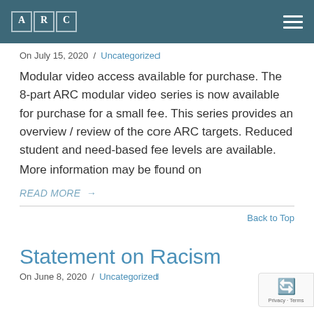ARC
On July 15, 2020 / Uncategorized
Modular video access available for purchase. The 8-part ARC modular video series is now available for purchase for a small fee. This series provides an overview / review of the core ARC targets. Reduced student and need-based fee levels are available. More information may be found on
READ MORE →
Back to Top
Statement on Racism
On June 8, 2020 / Uncategorized